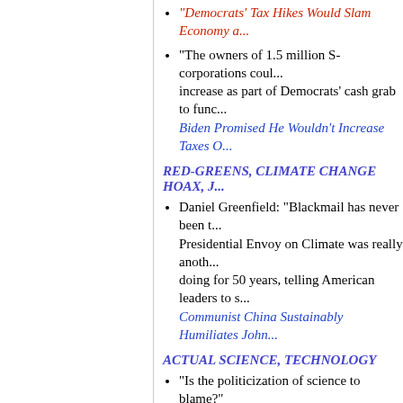Democrats' Tax Hikes Would Slam Economy a...
"The owners of 1.5 million S-corporations coul... increase as part of Democrats' cash grab to func... Biden Promised He Wouldn't Increase Taxes O...
RED-GREENS, CLIMATE CHANGE HOAX, J...
Daniel Greenfield: "Blackmail has never been t... Presidential Envoy on Climate was really anoth... doing for 50 years, telling American leaders to s... Communist China Sustainably Humiliates John...
ACTUAL SCIENCE, TECHNOLOGY
"Is the politicization of science to blame?" I&I/TIPP Poll: The Distrust of Scientists is Wid... Vaccines
"Virgin Galactic announced late Friday, when f... problem has been identified with its Virgin Gala... Another Technical Problem Identified in Virgin...
"It appears members of the party supposedly in... panic after the relatively minor flight deviation... the Virgin Galactic suborbital flight in July, and... effort to launch more rockets while keeping co... DC Swamp Moving to Cancel Trump Effort to ...
CULTURE WARS, NATIONAL SUICIDE
"To me, when people say to me sometimes, 'Bo... these days. Why?' Because you're embarrassing... audience cheered, 'That's why I'm going after...